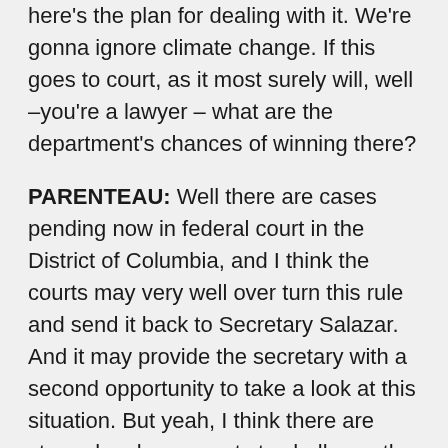here's the plan for dealing with it. We're gonna ignore climate change. If this goes to court, as it most surely will, well –you're a lawyer – what are the department's chances of winning there?
PARENTEAU: Well there are cases pending now in federal court in the District of Columbia, and I think the courts may very well over turn this rule and send it back to Secretary Salazar. And it may provide the secretary with a second opportunity to take a look at this situation. But yeah, I think there are strong legal arguments to challenge the explanation that the agency has offered for why the most prominent threat to the polar bear is being excluded from consideration in this special rule that they've adopted.
YOUNG: Professor Pat Parenteau specializes in endangered species and climate change issues at